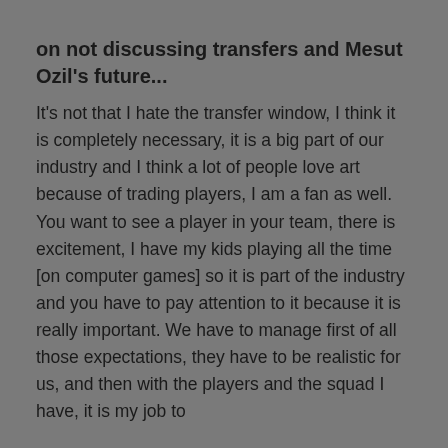on not discussing transfers and Mesut Ozil's future...
It's not that I hate the transfer window, I think it is completely necessary, it is a big part of our industry and I think a lot of people love art because of trading players, I am a fan as well. You want to see a player in your team, there is excitement, I have my kids playing all the time [on computer games] so it is part of the industry and you have to pay attention to it because it is really important. We have to manage first of all those expectations, they have to be realistic for us, and then with the players and the squad I have, it is my job to